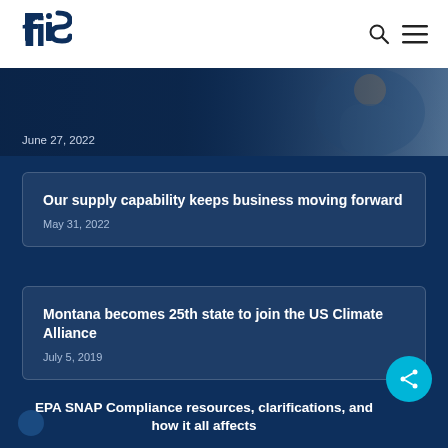[Figure (logo): FIS company logo in dark navy blue]
June 27, 2022
Our supply capability keeps business moving forward
May 31, 2022
Montana becomes 25th state to join the US Climate Alliance
July 5, 2019
EPA SNAP Compliance resources, clarifications, and how it all affects